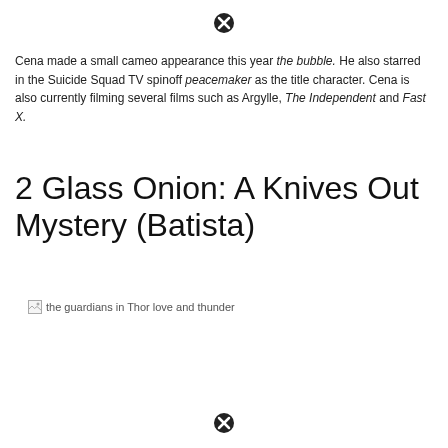Cena made a small cameo appearance this year the bubble. He also starred in the Suicide Squad TV spinoff peacemaker as the title character. Cena is also currently filming several films such as Argylle, The Independent and Fast X.
2 Glass Onion: A Knives Out Mystery (Batista)
[Figure (photo): Broken image placeholder with alt text: the guardians in Thor love and thunder]